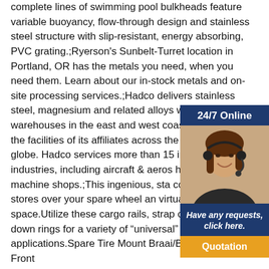complete lines of swimming pool bulkheads feature variable buoyancy, flow-through design and stainless steel structure with slip-resistant, energy absorbing, PVC grating.;Ryerson's Sunbelt-Turret location in Portland, OR has the metals you need, when you need them. Learn about our in-stock metals and on-site processing services.;Hadco delivers stainless steel, magnesium and related alloys w our warehouses in the east and west coast of th and from the facilities of its affiliates across the around the globe. Hadco services more than 15 in various industries, including aircraft & aeros hi-tech and machine shops.;This ingenious, sta cooking grate, stores over your spare wheel an virtually no space.Utilize these cargo rails, strap clips and tie down rings for a variety of “universal” storage applications.Spare Tire Mount Braai/BBQ Grate - by Front
[Figure (photo): Customer service representative woman wearing a headset, smiling, with '24/7 Online' header above and 'Have any requests, click here.' text below, plus a 'Quotation' button]